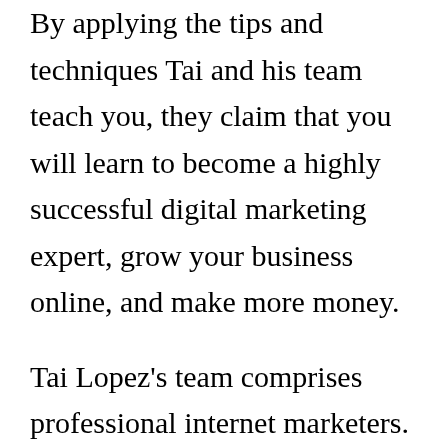By applying the tips and techniques Tai and his team teach you, they claim that you will learn to become a highly successful digital marketing expert, grow your business online, and make more money.
Tai Lopez's team comprises professional internet marketers. For example, Alex Mehr is a former NASA scientist turned digital expert, Mark Lack is quite experienced in personal branding, Terry Shand is a well-known sales expert, and Sean Vosler is a renowned social media influencer.
Their credentials notwithstanding, it is still a